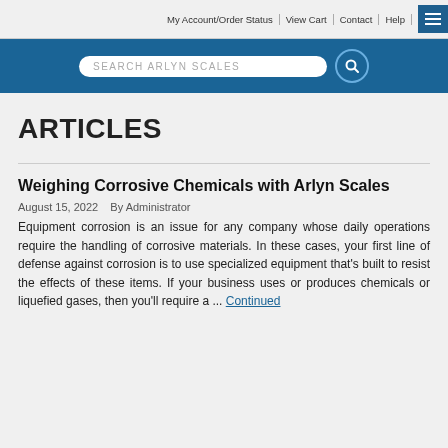My Account/Order Status | View Cart | Contact | Help
[Figure (screenshot): Search bar with placeholder text SEARCH ARLYN SCALES and a search button]
ARTICLES
Weighing Corrosive Chemicals with Arlyn Scales
August 15, 2022   By Administrator
Equipment corrosion is an issue for any company whose daily operations require the handling of corrosive materials. In these cases, your first line of defense against corrosion is to use specialized equipment that's built to resist the effects of these items. If your business uses or produces chemicals or liquefied gases, then you'll require a ... Continued